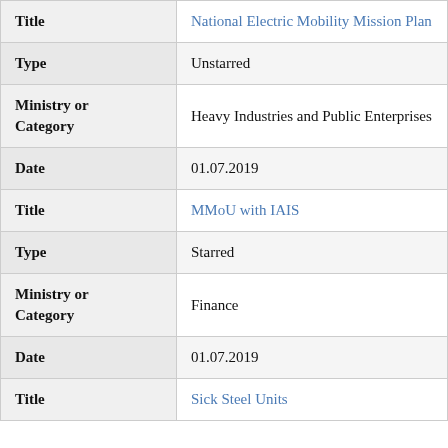| Field | Value |
| --- | --- |
| Title | National Electric Mobility Mission Plan |
| Type | Unstarred |
| Ministry or Category | Heavy Industries and Public Enterprises |
| Date | 01.07.2019 |
| Title | MMoU with IAIS |
| Type | Starred |
| Ministry or Category | Finance |
| Date | 01.07.2019 |
| Title | Sick Steel Units |